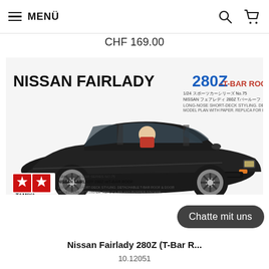MENÜ
CHF 169.00
[Figure (photo): Tamiya model kit box art showing Nissan Fairlady 280Z T-Bar Roof – a dark/black sports car with T-bar roof, driver visible, red shirt, with NISSAN FAIRLADY 280Z T-BAR ROOF title text and Tamiya logo at bottom left]
Chatte mit uns
Nissan Fairlady 280Z (T-Bar R...
10.12051